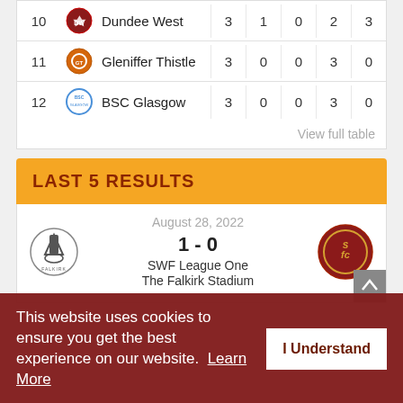| # | Logo | Team | P | W | D | L | Pts |
| --- | --- | --- | --- | --- | --- | --- | --- |
| 10 |  | Dundee West | 3 | 1 | 0 | 2 | 3 |
| 11 |  | Gleniffer Thistle | 3 | 0 | 0 | 3 | 0 |
| 12 |  | BSC Glasgow | 3 | 0 | 0 | 3 | 0 |
View full table
LAST 5 RESULTS
August 28, 2022
1 - 0
SWF League One
The Falkirk Stadium
Falkirk vs Stenhousemuir Women FC
This website uses cookies to ensure you get the best experience on our website.  Learn More
I Understand